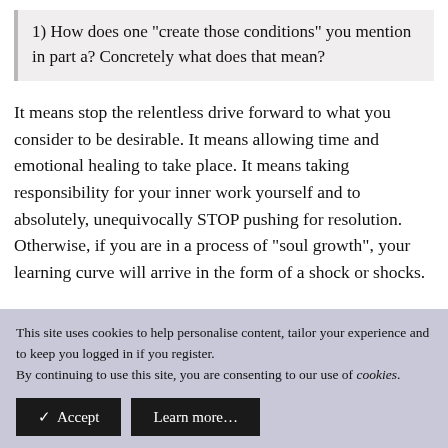1) How does one "create those conditions" you mention in part a? Concretely what does that mean?
It means stop the relentless drive forward to what you consider to be desirable. It means allowing time and emotional healing to take place. It means taking responsibility for your inner work yourself and to absolutely, unequivocally STOP pushing for resolution. Otherwise, if you are in a process of "soul growth", your learning curve will arrive in the form of a shock or shocks.
This site uses cookies to help personalise content, tailor your experience and to keep you logged in if you register.
By continuing to use this site, you are consenting to our use of cookies.